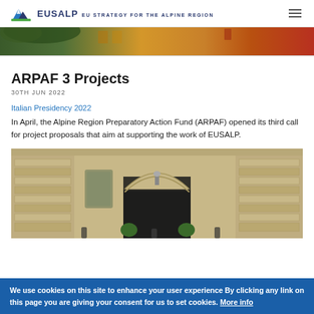EUSALP EU STRATEGY FOR THE ALPINE REGION
[Figure (photo): Partial view of a building with yellow facade and green foliage at the top of the page]
ARPAF 3 Projects
30TH JUN 2022
Italian Presidency 2022
In April, the Alpine Region Preparatory Action Fund (ARPAF) opened its third call for project proposals that aim at supporting the work of EUSALP.
[Figure (photo): Exterior of a classical stone building with arched doorway and decorative stonework facade, people visible at the bottom]
We use cookies on this site to enhance your user experience By clicking any link on this page you are giving your consent for us to set cookies. More info